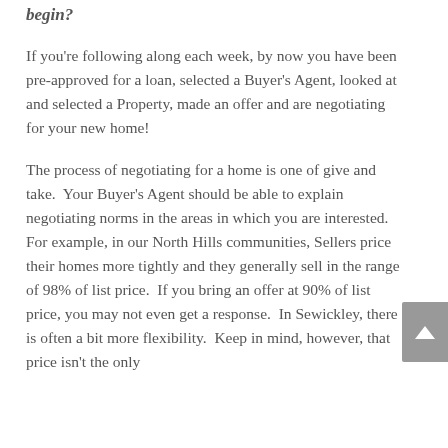begin?
If you're following along each week, by now you have been pre-approved for a loan, selected a Buyer's Agent, looked at and selected a Property, made an offer and are negotiating for your new home!
The process of negotiating for a home is one of give and take.  Your Buyer's Agent should be able to explain negotiating norms in the areas in which you are interested.  For example, in our North Hills communities, Sellers price their homes more tightly and they generally sell in the range of 98% of list price.  If you bring an offer at 90% of list price, you may not even get a response.  In Sewickley, there is often a bit more flexibility.  Keep in mind, however, that price isn't the only